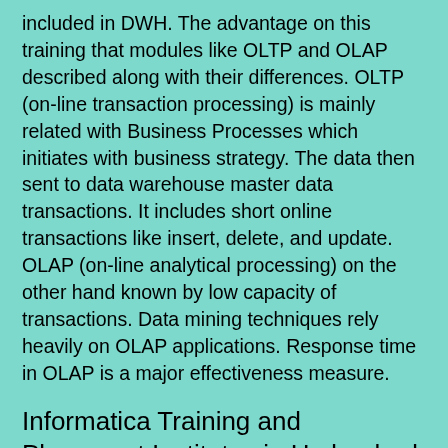included in DWH. The advantage on this training that modules like OLTP and OLAP described along with their differences. OLTP (on-line transaction processing) is mainly related with Business Processes which initiates with business strategy. The data then sent to data warehouse master data transactions. It includes short online transactions like insert, delete, and update. OLAP (on-line analytical processing) on the other hand known by low capacity of transactions. Data mining techniques rely heavily on OLAP applications. Response time in OLAP is a major effectiveness measure.
Informatica Training and Placement Institutes in Hyderabad
Online Informatica training in Hyderabad has got much popularity in the recent past. Due to this competition between training provider institutes...